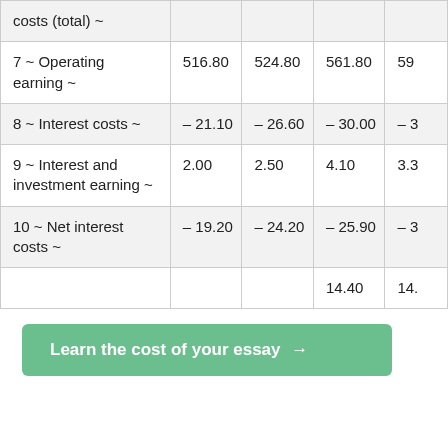|  | Col1 | Col2 | Col3 | Col4 |
| --- | --- | --- | --- | --- |
| costs (total) ~ |  |  |  |  |
| 7 ~ Operating earning ~ | 516.80 | 524.80 | 561.80 | 59… |
| 8 ~ Interest costs ~ | – 21.10 | – 26.60 | – 30.00 | – 3… |
| 9 ~ Interest and investment earning ~ | 2.00 | 2.50 | 4.10 | 3.3… |
| 10 ~ Net interest costs ~ | – 19.20 | – 24.20 | – 25.90 | – 3… |
|  |  |  | 14.40 | 14.… |
Learn the cost of your essay →